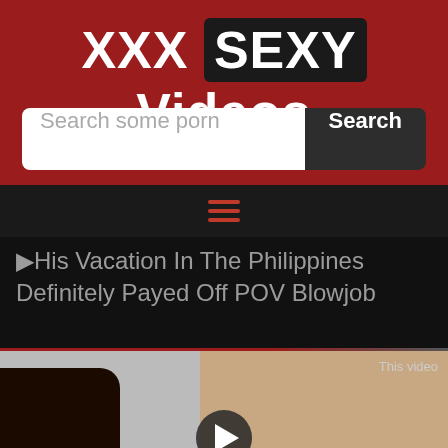XXX SEXY Videos
Search some porn
[Figure (screenshot): Hamburger menu icon with three red horizontal lines]
His Vacation In The Philippines Definitely Payed Off POV Blowjob
[Figure (screenshot): Video thumbnail showing partial video content with play button overlay and 'This video' text label]